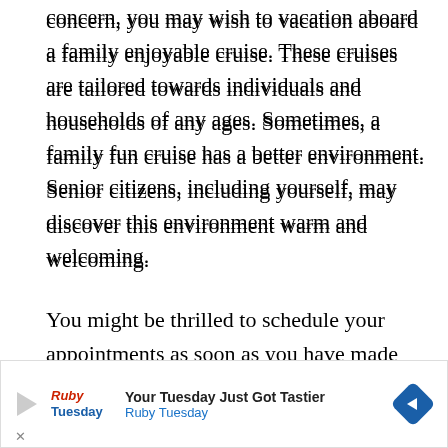concern, you may wish to vacation aboard a family enjoyable cruise. These cruises are tailored towards individuals and households of any ages. Sometimes, a family fun cruise has a better environment. Senior citizens, including yourself, may discover this environment warm and welcoming.
You might be thrilled to schedule your appointments as soon as you have made the choice to take a cruise ship vacation. Seniors are advised to refrain from purchasing tickets and making travel lodgings on an impulse. This is because numerous senior citizens get approved for cruise ship and other travel discount rates. Much of these
[Figure (other): Advertisement banner for Ruby Tuesday restaurant. Shows a play button icon, Ruby Tuesday logo, text 'Your Tuesday Just Got Tastier' and 'Ruby Tuesday', and a blue diamond-shaped arrow icon. Has a close (X) button at bottom left.]